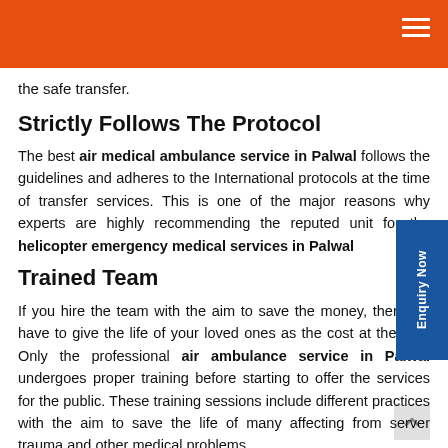the safe transfer.
Strictly Follows The Protocol
The best air medical ambulance service in Palwal follows the guidelines and adheres to the International protocols at the time of transfer services. This is one of the major reasons why experts are highly recommending the reputed unit for the helicopter emergency medical services in Palwal
Trained Team
If you hire the team with the aim to save the money, then you have to give the life of your loved ones as the cost at the end. Only the professional air ambulance service in Palwal undergoes proper training before starting to offer the services for the public. These training sessions include different practices with the aim to save the life of many affecting from server trauma and other medical problems.